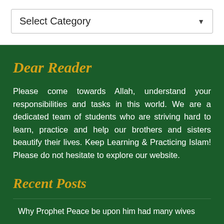Select Category
Dear Reader
Please come towards Allah, understand your responsibilities and tasks in this world. We are a dedicated team of students who are striving hard to learn, practice and help our brothers and sisters beautify their lives. Keep Learning & Practicing Islam! Please do not hesitate to explore our website.
Recent Posts
Why Prophet Peace be upon him had many wives
When a student of hadith narrated a hadith on smiling in